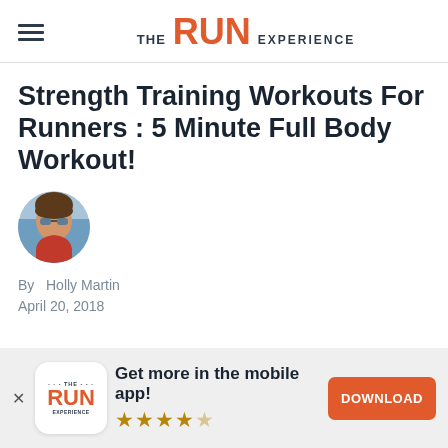THE RUN EXPERIENCE
Strength Training Workouts For Runners : 5 Minute Full Body Workout!
[Figure (photo): Circular author avatar photo of Holly Martin wearing sunglasses, outdoors near water]
By  Holly Martin
April 20, 2018
Get more in the mobile app! ★★★★☆
DOWNLOAD